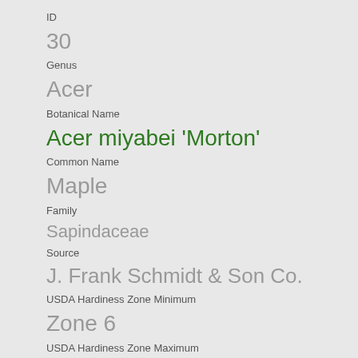ID
30
Genus
Acer
Botanical Name
Acer miyabei 'Morton'
Common Name
Maple
Family
Sapindaceae
Source
J. Frank Schmidt & Son Co.
USDA Hardiness Zone Minimum
Zone 6
USDA Hardiness Zone Maximum